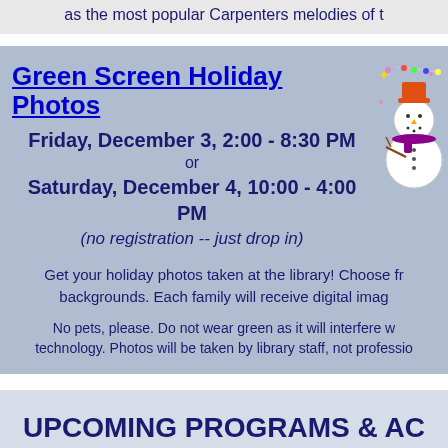as the most popular Carpenters melodies of t
Green Screen Holiday Photos
Friday, December 3, 2:00 - 8:30 PM
or
Saturday, December 4, 10:00 - 4:00 PM
(no registration -- just drop in)
Get your holiday photos taken at the library! Choose fr backgrounds. Each family will receive digital imag
No pets, please. Do not wear green as it will interfere w technology. Photos will be taken by library staff, not professio
UPCOMING PROGRAMS & AC
Please click an age group for program details & r